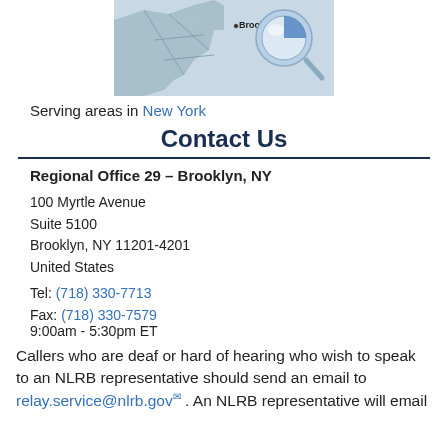[Figure (map): Partial map of New York area with Brooklyn highlighted and a 3D pin/marker over it]
Serving areas in New York
Contact Us
Regional Office 29 – Brooklyn, NY
100 Myrtle Avenue
Suite 5100
Brooklyn, NY 11201-4201
United States
Tel: (718) 330-7713
Fax: (718) 330-7579
9:00am - 5:30pm ET
Callers who are deaf or hard of hearing who wish to speak to an NLRB representative should send an email to relay.service@nlrb.gov . An NLRB representative will email